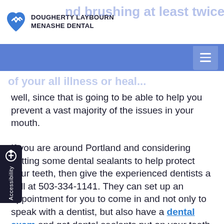DOUGHERTY LAYBOURN MENASHE DENTAL
well, since that is going to be able to help you prevent a vast majority of the issues in your mouth.
If you are around Portland and considering getting some dental sealants to help protect your teeth, then give the experienced dentists a call at 503-334-1141. They can set up an appointment for you to come in and not only to speak with a dentist, but also have a dental exam and get dental sealants put on your teeth. They can explain how to best care for them, and they can also begin a full dental care